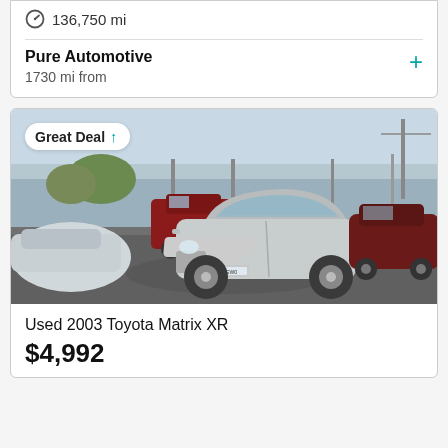136,750 mi
Pure Automotive
1730 mi from
[Figure (photo): Used car lot photo showing a silver 2003 Toyota Matrix XR in a parking lot with other vehicles including a red truck and dark red sedan. A 'Great Deal' badge overlay appears in the top-left corner of the image.]
Used 2003 Toyota Matrix XR
$4,992